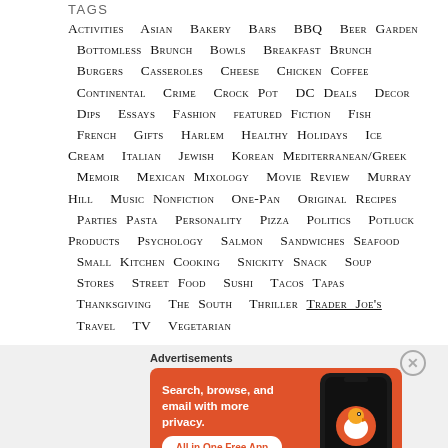TAGS
Activities  Asian  Bakery  Bars  BBQ  Beer Garden  Bottomless Brunch  Bowls  Breakfast  Brunch  Burgers  Casseroles  Cheese  Chicken  Coffee  Continental  Crime  Crock Pot  DC  Deals  Decor  Dips  Essays  Fashion  featured  Fiction  Fish  French  Gifts  Harlem  Healthy  Holidays  Ice Cream  Italian  Jewish  Korean  Mediterranean/Greek  Memoir  Mexican  Mixology  Movie Review  Murray Hill  Music  Nonfiction  One-Pan  Original Recipes  Parties  Pasta  Personality  Pizza  Politics  Potluck  Products  Psychology  Salmon  Sandwiches  Seafood  Small Kitchen Cooking  Snickity Snack  Soup  Stores  Street Food  Sushi  Tacos  Tapas  Thanksgiving  The South  Thriller  Trader Joe's  Travel  TV  Vegetarian
Advertisements
[Figure (illustration): DuckDuckGo advertisement banner with orange background showing phone mockup and text 'Search, browse, and email with more privacy. All in One Free App']